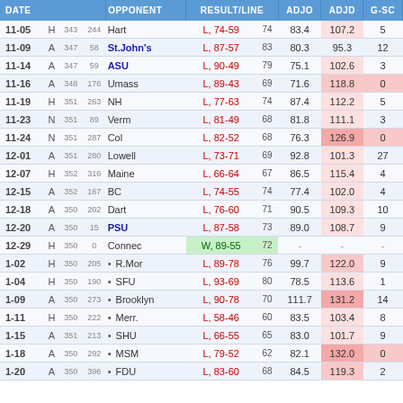| DATE |  |  |  | OPPONENT | RESULT/LINE |  | ADJO | ADJD | G-SC |
| --- | --- | --- | --- | --- | --- | --- | --- | --- | --- |
| 11-05 | H | 343 | 244 | Hart | L, 74-59 | 74 | 83.4 | 107.2 | 5 |
| 11-09 | A | 347 | 58 | St.John's | L, 87-57 | 83 | 80.3 | 95.3 | 12 |
| 11-14 | A | 347 | 59 | ASU | L, 90-49 | 79 | 75.1 | 102.6 | 3 |
| 11-16 | A | 348 | 176 | Umass | L, 89-43 | 69 | 71.6 | 118.8 | 0 |
| 11-19 | H | 351 | 263 | NH | L, 77-63 | 74 | 87.4 | 112.2 | 5 |
| 11-23 | N | 351 | 89 | Verm | L, 81-49 | 68 | 81.8 | 111.1 | 3 |
| 11-24 | N | 351 | 287 | Col | L, 82-52 | 68 | 76.3 | 126.9 | 0 |
| 12-01 | A | 351 | 280 | Lowell | L, 73-71 | 69 | 92.8 | 101.3 | 27 |
| 12-07 | H | 352 | 316 | Maine | L, 66-64 | 67 | 86.5 | 115.4 | 4 |
| 12-15 | A | 352 | 167 | BC | L, 74-55 | 74 | 77.4 | 102.0 | 4 |
| 12-18 | A | 350 | 202 | Dart | L, 76-60 | 71 | 90.5 | 109.3 | 10 |
| 12-20 | A | 350 | 15 | PSU | L, 87-58 | 73 | 89.0 | 108.7 | 9 |
| 12-29 | H | 350 | 0 | Connec | W, 89-55 | 72 | - | - | - |
| 1-02 | H | 350 | 205 | • R.Mor | L, 89-78 | 76 | 99.7 | 122.0 | 9 |
| 1-04 | H | 350 | 190 | • SFU | L, 93-69 | 80 | 78.5 | 113.6 | 1 |
| 1-09 | A | 350 | 273 | • Brooklyn | L, 90-78 | 70 | 111.7 | 131.2 | 14 |
| 1-11 | H | 350 | 222 | • Merr. | L, 58-46 | 60 | 83.5 | 103.4 | 8 |
| 1-15 | A | 351 | 213 | • SHU | L, 66-55 | 65 | 83.0 | 101.7 | 9 |
| 1-18 | A | 350 | 292 | • MSM | L, 79-52 | 62 | 82.1 | 132.0 | 0 |
| 1-20 | A | 350 | 396 | • FDU | L, 83-60 | 68 | 84.5 | 119.3 | 2 |